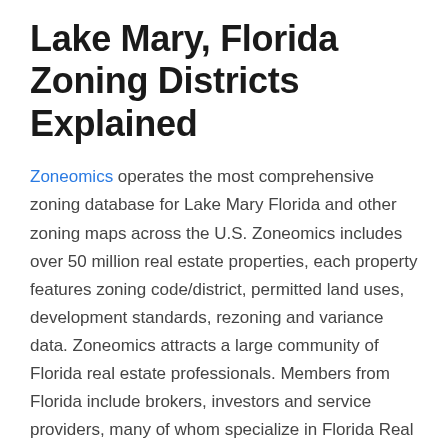Lake Mary, Florida Zoning Districts Explained
Zoneomics operates the most comprehensive zoning database for Lake Mary Florida and other zoning maps across the U.S. Zoneomics includes over 50 million real estate properties, each property features zoning code/district, permitted land uses, development standards, rezoning and variance data. Zoneomics attracts a large community of Florida real estate professionals. Members from Florida include brokers, investors and service providers, many of whom specialize in Florida Real Estate.
| A-1 |
| --- |